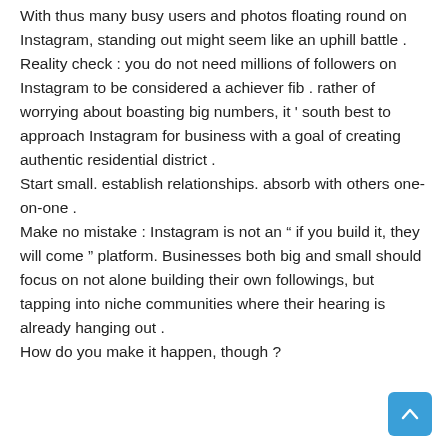With thus many busy users and photos floating round on Instagram, standing out might seem like an uphill battle . Reality check : you do not need millions of followers on Instagram to be considered a achiever fib . rather of worrying about boasting big numbers, it ' south best to approach Instagram for business with a goal of creating authentic residential district . Start small. establish relationships. absorb with others one-on-one . Make no mistake : Instagram is not an “ if you build it, they will come ” platform. Businesses both big and small should focus on not alone building their own followings, but tapping into niche communities where their hearing is already hanging out . How do you make it happen, though ?